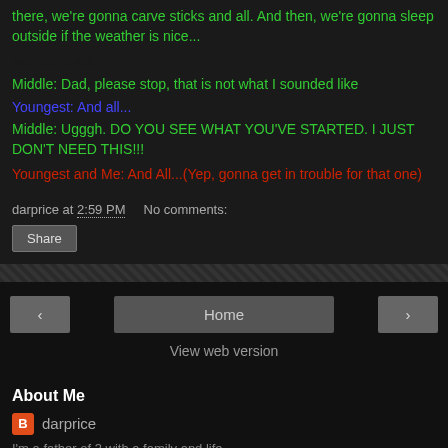there, we're gonna carve sticks and all. And then, we're gonna sleep outside if the weather is nice...
Me: And all.
Middle: Dad, please stop, that is not what I sounded like
Youngest: And all...
Middle: Ugggh. DO YOU SEE WHAT YOU'VE STARTED. I JUST DON'T NEED THIS!!!
Youngest and Me: And All...(Yep, gonna get in trouble for that one)
darprice at 2:59 PM   No comments:
Share
Home | View web version
About Me
darprice
I'm a father of 3 with a family and life...